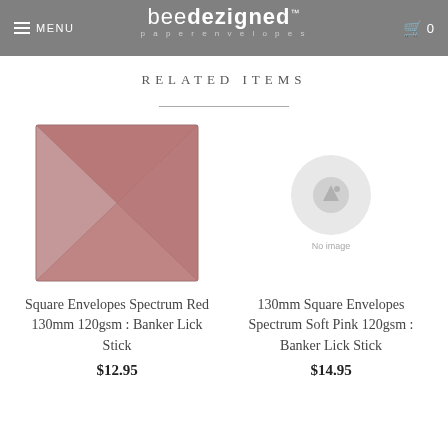MENU | beedezigned™ paperenvelopes | 0
RELATED ITEMS
[Figure (photo): Square envelope in dusty rose/spectrum red colour, showing diamond fold pattern on front]
Square Envelopes Spectrum Red 130mm 120gsm : Banker Lick Stick
$12.95
[Figure (photo): No image placeholder with grey circle and 'No Image' text]
130mm Square Envelopes Spectrum Soft Pink 120gsm : Banker Lick Stick
$14.95